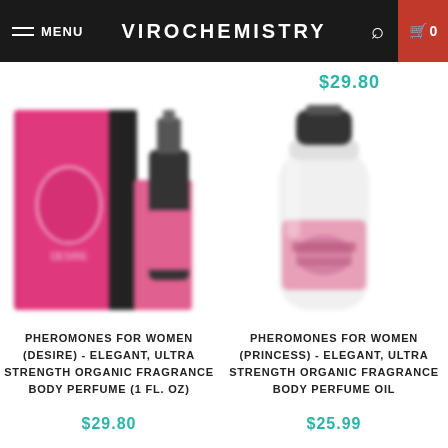MENU | VIROCHEMISTRY | 0
$29.80
[Figure (photo): Pink fragrance perfume product box and bottle, slightly blurred]
PHEROMONES FOR WOMEN (DESIRE) - ELEGANT, ULTRA STRENGTH ORGANIC FRAGRANCE BODY PERFUME (1 FL. OZ)
$29.80
[Figure (photo): White bottle with pink label fragrance body perfume oil, slightly blurred]
PHEROMONES FOR WOMEN (PRINCESS) - ELEGANT, ULTRA STRENGTH ORGANIC FRAGRANCE BODY PERFUME OIL
$25.99